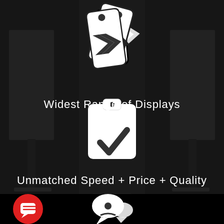[Figure (infographic): Dark background with display banner stands visible on left, center, and right. White price tag / chevron icon in upper center. White clipboard/checklist icon in middle center. Red circle with chat icon in lower left. White speech bubble / people chat icon in lower center.]
Widest Range of Displays
Unmatched Speed + Price + Quality